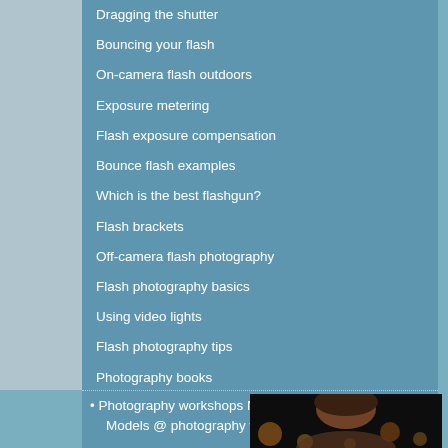Dragging the shutter
Bouncing your flash
On-camera flash outdoors
Exposure metering
Flash exposure compensation
Bounce flash examples
Which is the best flashgun?
Flash brackets
Off-camera flash photography
Flash photography basics
Using video lights
Flash photography tips
Photography books
Photography workshops NJ / NYC
Models @ photography workshops
[Figure (photo): Portrait photo of a woman with dark hair against a dark background with warm bokeh lights]